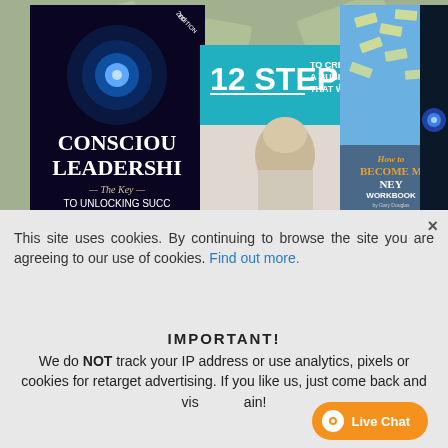[Figure (screenshot): Banner showing multiple book covers: 'Conscious Leadership – The Key to Unlocking Success', '12 Steps to Creating a Business That Works', a '7 Part Teleseries' with a person laughing, 'How to Become Money Workbook', and a blue tech book on the right. Background shows dollar bills.]
This site uses cookies. By continuing to browse the site you are agreeing to our use of cookies. Find out more.
IMPORTANT!
We do NOT track your IP address or use analytics, pixels or cookies for retarget advertising. If you like us, just come back and visit us again!